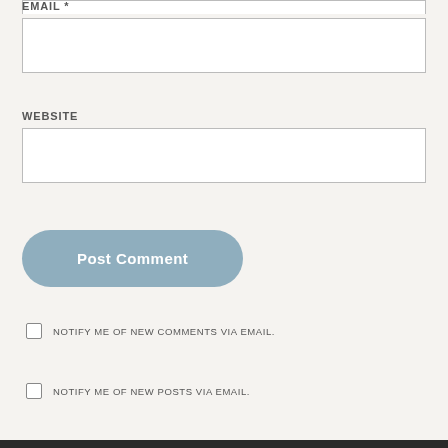EMAIL *
[Figure (screenshot): Empty text input field for email]
WEBSITE
[Figure (screenshot): Empty text input field for website]
[Figure (screenshot): Post Comment button, rounded, blue-grey color]
NOTIFY ME OF NEW COMMENTS VIA EMAIL.
NOTIFY ME OF NEW POSTS VIA EMAIL.